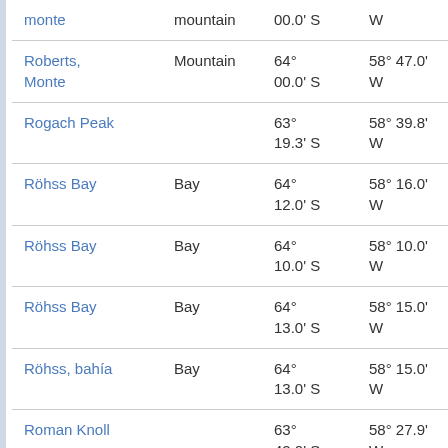| Name | Type | Latitude | Longitude | Distance |
| --- | --- | --- | --- | --- |
| monte | mountain | 00.0' S | W | at 154 |
| Roberts, Monte | Mountain | 64° 00.0' S | 58° 47.0' W | 33.5 k at 153 |
| Rogach Peak |  | 63° 19.3' S | 58° 39.8' W | 50.6 k at 26° |
| Röhss Bay | Bay | 64° 12.0' S | 58° 16.0' W | 65.9 k at 142 |
| Röhss Bay | Bay | 64° 10.0' S | 58° 10.0' W | 66.3 k at 137 |
| Röhss Bay | Bay | 64° 13.0' S | 58° 15.0' W | 67.9 k at 143 |
| Röhss, bahía | Bay | 64° 13.0' S | 58° 15.0' W | 67.9 k at 143 |
| Roman Knoll |  | 63° 42.0' S | 58° 27.9' W | 31.5 k at 84° |
| Roquemaurel, |  | 63° | 58° 57.0' | 21.7 k |